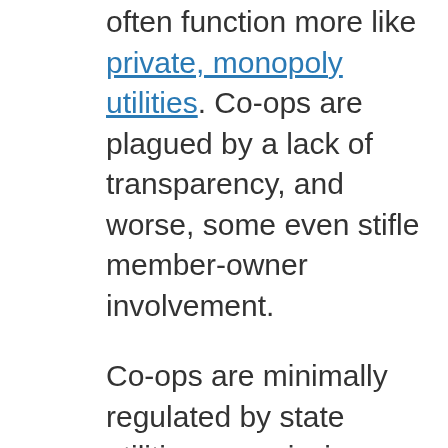often function more like private, monopoly utilities. Co-ops are plagued by a lack of transparency, and worse, some even stifle member-owner involvement.
Co-ops are minimally regulated by state utilities commissions and may not have to comply with state renewable energy or energy efficiency standards, so they aren't always incentivized to modernize their energy systems. They often rely too heavily on expensive fossil fuels, and are burdened by